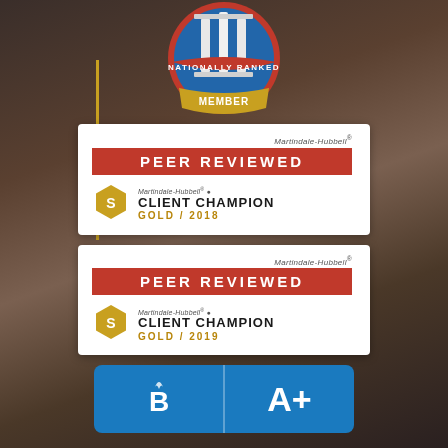[Figure (logo): Nationally Ranked Member badge - circular blue badge with columns and red/gold ribbon]
[Figure (logo): Martindale-Hubbell Peer Reviewed badge with Client Champion Gold 2018]
[Figure (logo): Martindale-Hubbell Peer Reviewed badge with Client Champion Gold 2019]
[Figure (logo): BBB A+ rating badge in blue]